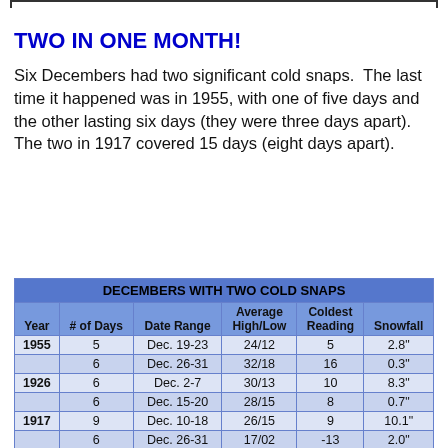TWO IN ONE MONTH!
Six Decembers had two significant cold snaps.  The last time it happened was in 1955, with one of five days and the other lasting six days (they were three days apart).  The two in 1917 covered 15 days (eight days apart).
| Year | # of Days | Date Range | Average High/Low | Coldest Reading | Snowfall |
| --- | --- | --- | --- | --- | --- |
| 1955 | 5 | Dec. 19-23 | 24/12 | 5 | 2.8" |
|  | 6 | Dec. 26-31 | 32/18 | 16 | 0.3" |
| 1926 | 6 | Dec. 2-7 | 30/13 | 10 | 8.3" |
|  | 6 | Dec. 15-20 | 28/15 | 8 | 0.7" |
| 1917 | 9 | Dec. 10-18 | 26/15 | 9 | 10.1" |
|  | 6 | Dec. 26-31 | 17/02 | -13 | 2.0" |
| 1903 | 5 | Dec. 14-18 | 28/20 | 16 | 0.0" |